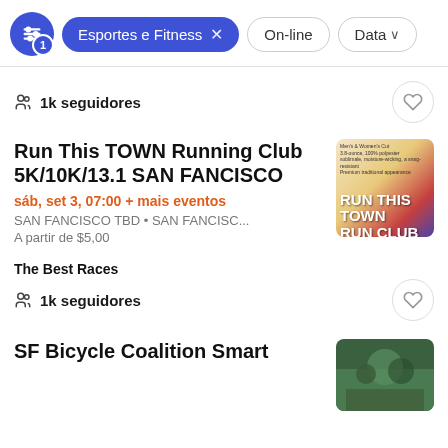Esportes e Fitness × | On-line | Data
1k seguidores
Run This TOWN Running Club 5K/10K/13.1 SAN FANCISCO
sáb, set 3, 07:00 + mais eventos
SAN FANCISCO TBD • SAN FANCISC...
A partir de $5,00
The Best Races
1k seguidores
SF Bicycle Coalition Smart